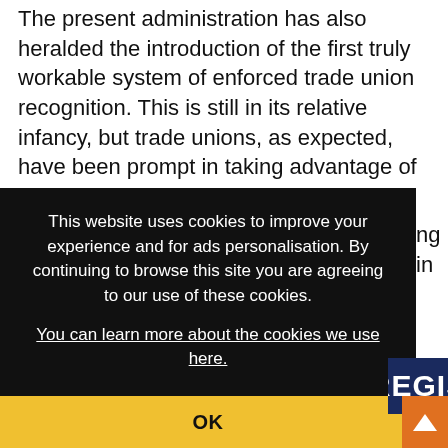The present administration has also heralded the introduction of the first truly workable system of enforced trade union recognition. This is still in its relative infancy, but trade unions, as expected, have been prompt in taking advantage of this system. More specifically, they have
[Figure (screenshot): Cookie consent overlay banner with dark background. Text reads: 'This website uses cookies to improve your experience and for ads personalisation. By continuing to browse this site you are agreeing to our use of these cookies. You can learn more about the cookies we use here.' with an OK button in yellow/gold at the bottom. A partial 'REGIS' text in dark blue and an orange scroll-to-top arrow button appear on the right side.]